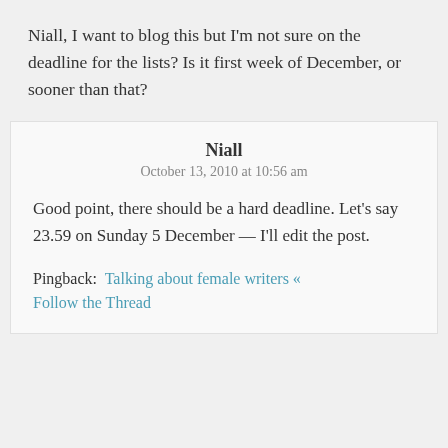Niall, I want to blog this but I'm not sure on the deadline for the lists? Is it first week of December, or sooner than that?
Niall
October 13, 2010 at 10:56 am
Good point, there should be a hard deadline. Let's say 23.59 on Sunday 5 December — I'll edit the post.
Pingback: Talking about female writers « Follow the Thread